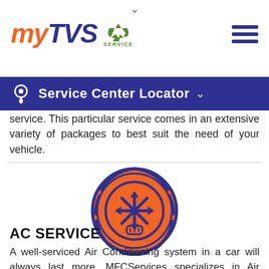myTVS SERVICE
Service Center Locator
service. This particular service comes in an extensive variety of packages to best suit the need of your vehicle.
[Figure (illustration): Orange circle with dark blue AC/snowflake service icon in the center, surrounded by a circular gear-like border]
AC SERVICE
A well-serviced Air Conditioning system in a car will always last more. MFCServices specializes in Air Conditioning Repair and maintenance services. We use the best procedures to make sure your Air Conditioners stay in the best health and